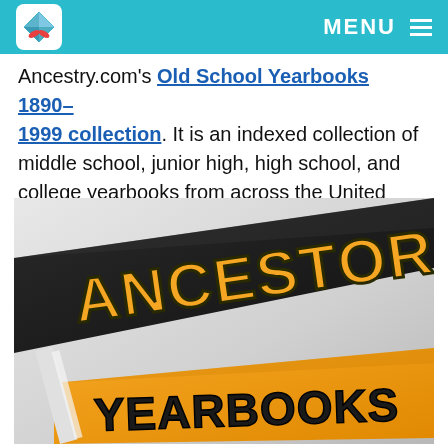MENU ☰
Ancestry.com's Old School Yearbooks 1890–1999 collection. It is an indexed collection of middle school, junior high, high school, and college yearbooks from across the United States.
[Figure (illustration): Two pennant flags — one black with 'ANCESTOR' in gold letters, one orange with 'YEARBOOKS' in dark letters — photographed on a grey background.]